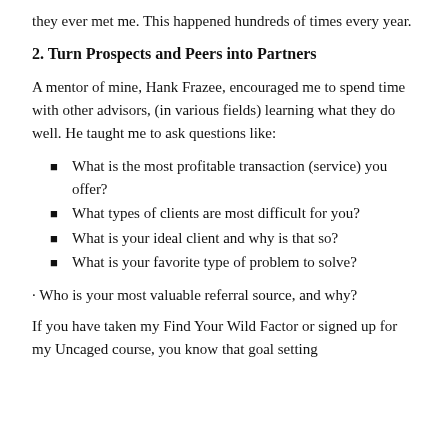they ever met me. This happened hundreds of times every year.
2. Turn Prospects and Peers into Partners
A mentor of mine, Hank Frazee, encouraged me to spend time with other advisors, (in various fields) learning what they do well. He taught me to ask questions like:
What is the most profitable transaction (service) you offer?
What types of clients are most difficult for you?
What is your ideal client and why is that so?
What is your favorite type of problem to solve?
· Who is your most valuable referral source, and why?
If you have taken my Find Your Wild Factor or signed up for my Uncaged course, you know that goal setting